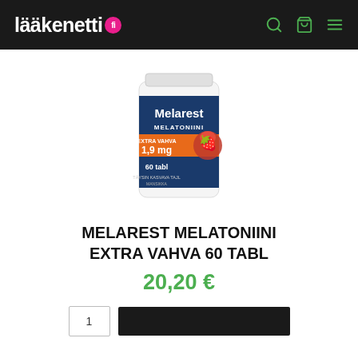lääkenetti fi
[Figure (photo): Melarest Melatoniini Extra Vahva 1,9 mg 60 tabl product bottle/container with blue and orange label showing strawberry image]
MELAREST MELATONIINI EXTRA VAHVA 60 TABL
20,20 €